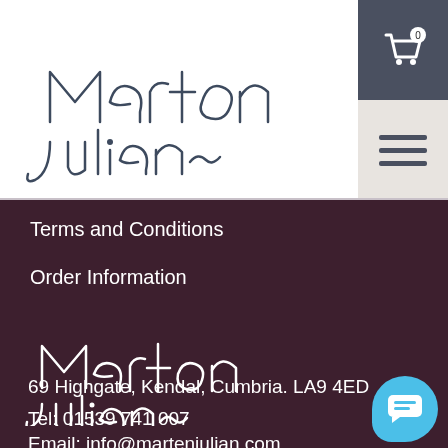[Figure (logo): Marten Julian handwritten signature logo in dark blue/slate on white background, top header area]
[Figure (infographic): Shopping cart icon with badge showing 0, dark blue background top-right]
[Figure (infographic): Hamburger menu icon (three horizontal lines) on light beige background, top-right below cart]
Terms and Conditions
Order Information
[Figure (logo): Marten Julian handwritten signature logo in white on dark maroon/plum background]
69 Highgate, Kendal, Cumbria. LA9 4ED
Tel: 01539 741 007
Email: info@martenjulian.com
[Figure (infographic): Light blue chat/message button in bottom-right corner]